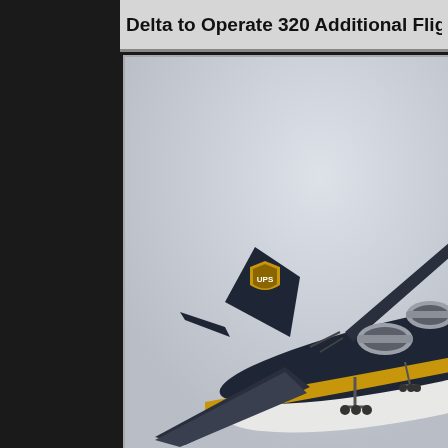Delta to Operate 320 Additional Flights for CE
[Figure (photo): A UPS cargo aircraft (brown/dark navy livery with gold UPS shield logo on tail) photographed in flight from below and slightly to the side, showing the tail, wings, and engines against a pale grey sky.]